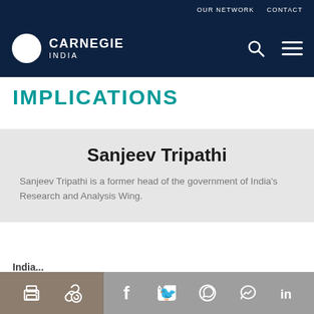OUR NETWORK   CONTACT
[Figure (logo): Carnegie India logo - white circle with 'C' shape and text 'CARNEGIE INDIA']
IMPLICATIONS
Sanjeev Tripathi
Sanjeev Tripathi is a former head of the government of India's Research and Analysis Wing.
Share icons: print, link, Facebook, Twitter, WhatsApp, Messenger, LinkedIn